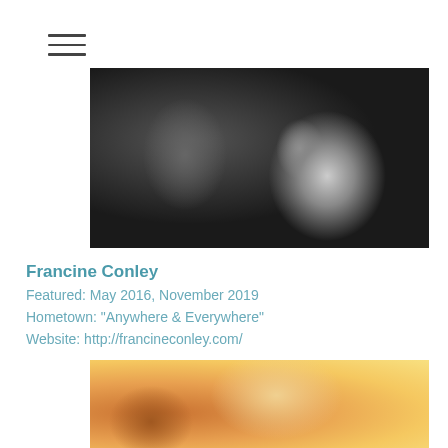[Figure (other): Hamburger menu icon with three horizontal lines]
[Figure (photo): Black and white photo of a musician performing with a microphone, dark background with blurred bright element in the right portion]
Francine Conley
Featured: May 2016, November 2019
Hometown: "Anywhere & Everywhere"
Website: http://francineconley.com/
[Figure (photo): Close-up warm-toned photo of a person's face with blonde hair, yellow and orange hues]